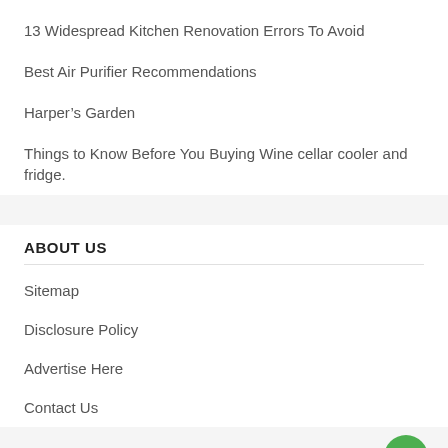13 Widespread Kitchen Renovation Errors To Avoid
Best Air Purifier Recommendations
Harper’s Garden
Things to Know Before You Buying Wine cellar cooler and fridge.
ABOUT US
Sitemap
Disclosure Policy
Advertise Here
Contact Us